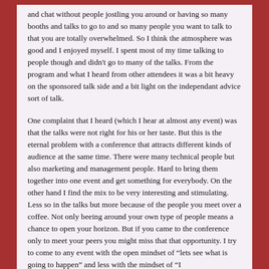and chat without people jostling you around or having so many booths and talks to go to and so many people you want to talk to that you are totally overwhelmed. So I think the atmosphere was good and I enjoyed myself. I spent most of my time talking to people though and didn't go to many of the talks. From the program and what I heard from other attendees it was a bit heavy on the sponsored talk side and a bit light on the independant advice sort of talk.
One complaint that I heard (which I hear at almost any event) was that the talks were not right for his or her taste. But this is the eternal problem with a conference that attracts different kinds of audience at the same time. There were many technical people but also marketing and management people. Hard to bring them together into one event and get something for everybody. On the other hand I find the mix to be very interesting and stimulating. Less so in the talks but more because of the people you meet over a coffee. Not only beeing around your own type of people means a chance to open your horizon. But if you came to the conference only to meet your peers you might miss that that opportunity. I try to come to any event with the open mindset of “lets see what is going to happen” and less with the mindset of “I